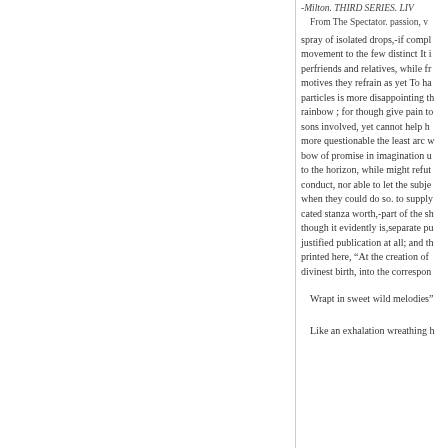-Milton. THIRD SERIES. LIV
From The Spectator. passion, v
spray of isolated drops,-if compl movement to the few distinct It i perfriends and relatives, while fr motives they refrain as yet To ha particles is more disappointing th rainbow ; for though give pain to sons involved, yet cannot help h more questionable the least arc w bow of promise in imagination u to the horizon, while might refut conduct, nor able to let the subje when they could do so. to supply cated stanza worth,-part of the sh though it evidently is,separate pu justified publication at all; and th printed here, “At the creation of divinest birth, into the correspon
Wrapt in sweet wild melodies”
Like an exhalation wreathing h